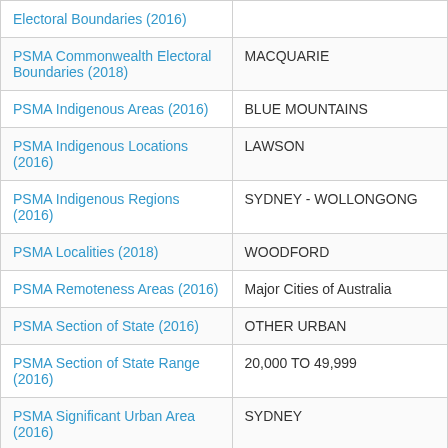| Dataset | Value |
| --- | --- |
| Electoral Boundaries (2016) |  |
| PSMA Commonwealth Electoral Boundaries (2018) | MACQUARIE |
| PSMA Indigenous Areas (2016) | BLUE MOUNTAINS |
| PSMA Indigenous Locations (2016) | LAWSON |
| PSMA Indigenous Regions (2016) | SYDNEY - WOLLONGONG |
| PSMA Localities (2018) | WOODFORD |
| PSMA Remoteness Areas (2016) | Major Cities of Australia |
| PSMA Section of State (2016) | OTHER URBAN |
| PSMA Section of State Range (2016) | 20,000 TO 49,999 |
| PSMA Significant Urban Area (2016) | SYDNEY |
| PSMA State Electoral | LEGISLATIVE COUNCIL |